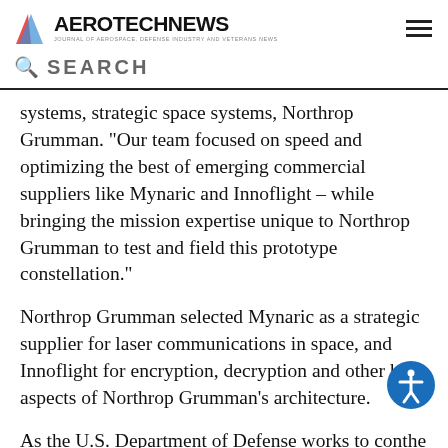AEROTECHNEWS — JOURNAL OF AEROSPACE, DEFENSE INDUSTRY AND VETERANS NEWS
SEARCH
systems, strategic space systems, Northrop Grumman. “Our team focused on speed and optimizing the best of emerging commercial suppliers like Mynaric and Innoflight – while bringing the mission expertise unique to Northrop Grumman to test and field this prototype constellation.”
Northrop Grumman selected Mynaric as a strategic supplier for laser communications in space, and Innoflight for encryption, decryption and other key aspects of Northrop Grumman’s architecture.
As the U.S. Department of Defense works to con the joint force, Northrop Grumman’s space